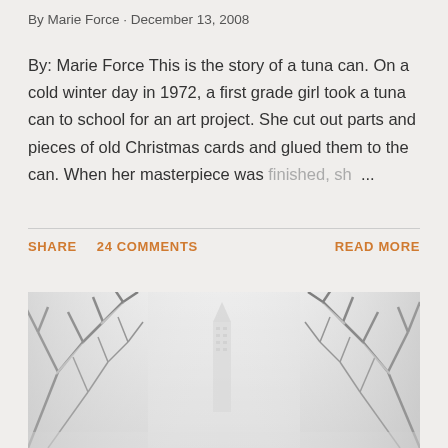By Marie Force · December 13, 2008
By: Marie Force This is the story of a tuna can. On a cold winter day in 1972, a first grade girl took a tuna can to school for an art project. She cut out parts and pieces of old Christmas cards and glued them to the can. When her masterpiece was finished, sh ...
SHARE   24 COMMENTS   READ MORE
[Figure (photo): Black and white winter scene with snow-covered bare tree branches in the foreground and a tall building or monument visible in the misty background]